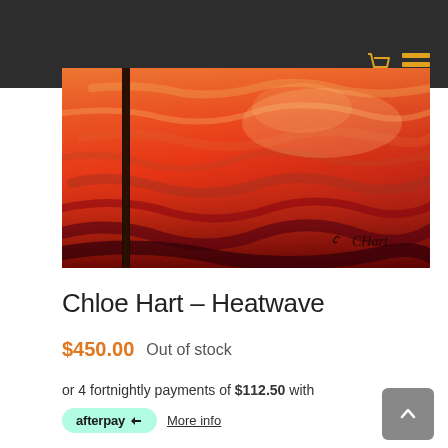[Figure (photo): Abstract painting 'Heatwave' by Chloe Hart — vibrant red, orange textured canvas with a dark vertical tree-like form on the left and artist signature 'CHart' in the lower right.]
Chloe Hart – Heatwave
$450.00  Out of stock
or 4 fortnightly payments of $112.50 with
afterpay  More info